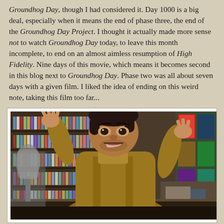Groundhog Day, though I had considered it. Day 1000 is a big deal, especially when it means the end of phase three, the end of the Groundhog Day Project. I thought it actually made more sense not to watch Groundhog Day today, to leave this month incomplete, to end on an almost aimless resumption of High Fidelity. Nine days of this movie, which means it becomes second in this blog next to Groundhog Day. Phase two was all about seven days with a given film. I liked the idea of ending on this weird note, taking this film too far...
[Figure (photo): A man (actor Jack Black) in a brown jacket, laughing and gesturing with both hands raised, standing behind a counter in a record store with shelves of CDs/records in the background.]